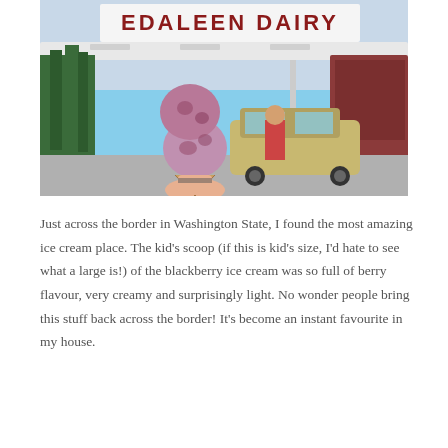[Figure (photo): A hand holding a large double-scoop blackberry ice cream cone in a waffle cone, in front of the Edaleen Dairy store sign and building on a sunny day. The sign reads EDALEEN DAIRY in large letters.]
Just across the border in Washington State, I found the most amazing ice cream place. The kid's scoop (if this is kid's size, I'd hate to see what a large is!) of the blackberry ice cream was so full of berry flavour, very creamy and surprisingly light. No wonder people bring this stuff back across the border! It's become an instant favourite in my house.